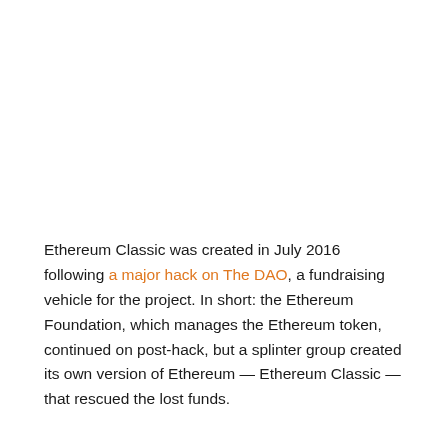Ethereum Classic was created in July 2016 following a major hack on The DAO, a fundraising vehicle for the project. In short: the Ethereum Foundation, which manages the Ethereum token, continued on post-hack, but a splinter group created its own version of Ethereum — Ethereum Classic — that rescued the lost funds.